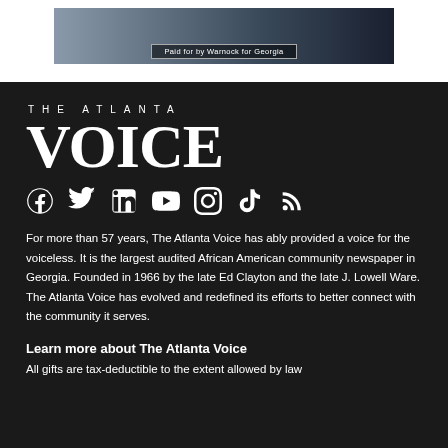[Figure (photo): Advertisement image showing a person with dark background. Bottom bar reads 'Paid for by Warnock for Georgia']
THE ATLANTA
VOICE
[Figure (infographic): Social media icons: Facebook, Twitter, LinkedIn, YouTube, Instagram, TikTok, RSS]
For more than 57 years, The Atlanta Voice has ably provided a voice for the voiceless. It is the largest audited African American community newspaper in Georgia. Founded in 1966 by the late Ed Clayton and the late J. Lowell Ware. The Atlanta Voice has evolved and redefined its efforts to better connect with the community it serves.
Learn more about The Atlanta Voice
All gifts are tax-deductible to the extent allowed by law